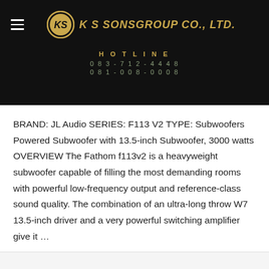K S SONSGROUP CO., LTD.
HOTLINE
083-712-4448
081-008-0008
BRAND: JL Audio SERIES: F113 V2 TYPE: Subwoofers Powered Subwoofer with 13.5-inch Subwoofer, 3000 watts OVERVIEW The Fathom f113v2 is a heavyweight subwoofer capable of filling the most demanding rooms with powerful low-frequency output and reference-class sound quality. The combination of an ultra-long throw W7 13.5-inch driver and a very powerful switching amplifier give it …
Read More »